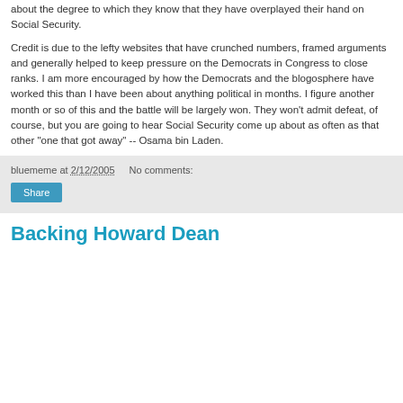about the degree to which they know that they have overplayed their hand on Social Security.
Credit is due to the lefty websites that have crunched numbers, framed arguments and generally helped to keep pressure on the Democrats in Congress to close ranks. I am more encouraged by how the Democrats and the blogosphere have worked this than I have been about anything political in months. I figure another month or so of this and the battle will be largely won. They won't admit defeat, of course, but you are going to hear Social Security come up about as often as that other "one that got away" -- Osama bin Laden.
bluememe at 2/12/2005   No comments:
Share
Backing Howard Dean